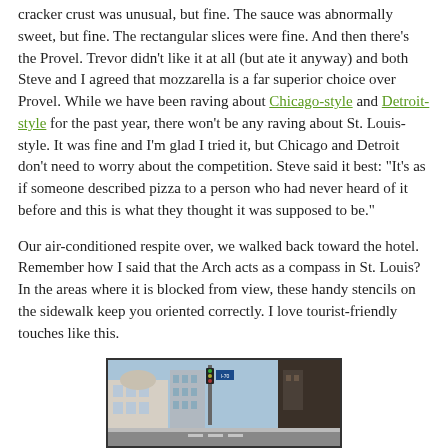cracker crust was unusual, but fine. The sauce was abnormally sweet, but fine. The rectangular slices were fine. And then there's the Provel. Trevor didn't like it at all (but ate it anyway) and both Steve and I agreed that mozzarella is a far superior choice over Provel. While we have been raving about Chicago-style and Detroit-style for the past year, there won't be any raving about St. Louis-style. It was fine and I'm glad I tried it, but Chicago and Detroit don't need to worry about the competition. Steve said it best: "It's as if someone described pizza to a person who had never heard of it before and this is what they thought it was supposed to be."
Our air-conditioned respite over, we walked back toward the hotel. Remember how I said that the Arch acts as a compass in St. Louis? In the areas where it is blocked from view, these handy stencils on the sidewalk keep you oriented correctly. I love tourist-friendly touches like this.
[Figure (photo): Street scene photo showing a city intersection with buildings, traffic signals, and street signs, likely in St. Louis.]